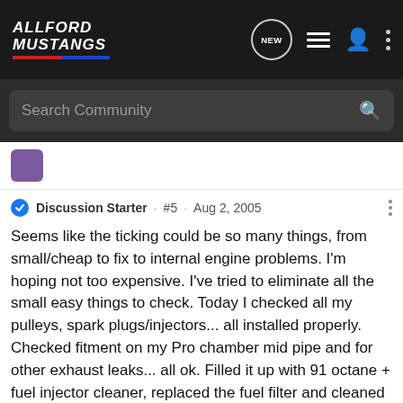[Figure (logo): AllFord Mustangs forum logo in top navigation bar, white italic text on dark background with red and blue stripe]
AllFord Mustangs - navigation bar with NEW button, list icon, person icon, and dots menu
Search Community
Discussion Starter · #5 · Aug 2, 2005
Seems like the ticking could be so many things, from small/cheap to fix to internal engine problems. I'm hoping not too expensive. I've tried to eliminate all the small easy things to check. Today I checked all my pulleys, spark plugs/injectors... all installed properly. Checked fitment on my Pro chamber mid pipe and for other exhaust leaks... all ok. Filled it up with 91 octane + fuel injector cleaner, replaced the fuel filter and cleaned the MAF with some electrical parts cleaner. Still there at high rpms.🙁 I'll have to give it a while to see if it returns upon start up though as it occured every so often. I'm starting to wonder if it is normal and I just never noticed it before with the exhaust drowning it out. Like I said earlier after replacing the